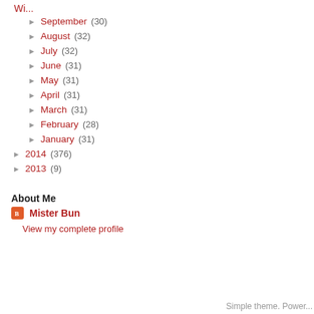Wi...
► September (30)
► August (32)
► July (32)
► June (31)
► May (31)
► April (31)
► March (31)
► February (28)
► January (31)
► 2014 (376)
► 2013 (9)
About Me
Mister Bun
View my complete profile
Simple theme. Power...